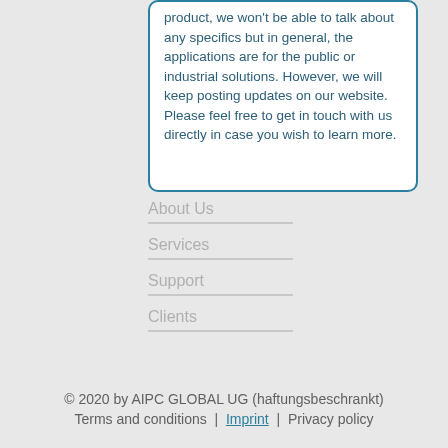product, we won't be able to talk about any specifics but in general, the applications are for the public or industrial solutions. However, we will keep posting updates on our website. Please feel free to get in touch with us directly in case you wish to learn more.
About Us
Services
Support
Clients
© 2020 by AIPC GLOBAL UG (haftungsbeschrankt) Terms and conditions | Imprint | Privacy policy